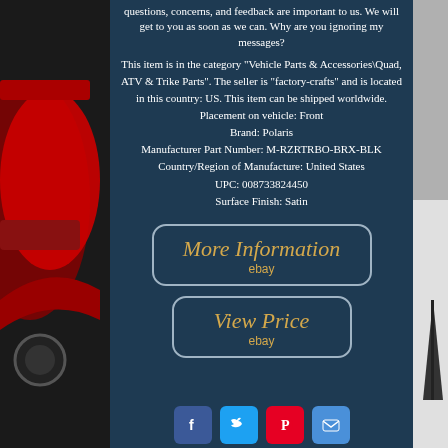questions, concerns, and feedback are important to us. We will get to you as soon as we can. Why are you ignoring my messages?
This item is in the category "Vehicle Parts & Accessories\Quad, ATV & Trike Parts". The seller is "factory-crafts" and is located in this country: US. This item can be shipped worldwide.
Placement on vehicle: Front
Brand: Polaris
Manufacturer Part Number: M-RZRTRBO-BRX-BLK
Country/Region of Manufacture: United States
UPC: 008733824450
Surface Finish: Satin
[Figure (screenshot): Button with text 'More Information' and 'ebay' label on dark blue background with rounded border]
[Figure (screenshot): Button with text 'View Price' and 'ebay' label on dark blue background with rounded border]
[Figure (infographic): Social media icons row: Facebook, Twitter, Pinterest, Email]